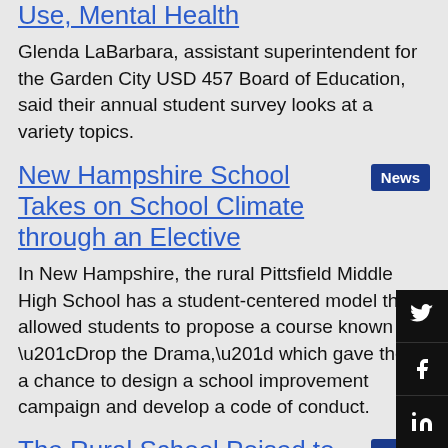Use, Mental Health
Glenda LaBarbara, assistant superintendent for the Garden City USD 457 Board of Education, said their annual student survey looks at a variety topics.
New Hampshire School Takes on School Climate through an Elective
In New Hampshire, the rural Pittsfield Middle High School has a student-centered model that allowed students to propose a course known as “Drop the Drama,” which gave them a chance to design a school improvement campaign and develop a code of conduct.
The Rural School Poised to End Bullying
In the constant battle against mean girls and boys, one district in New Hampshire is intervening with a stud- driven approach.